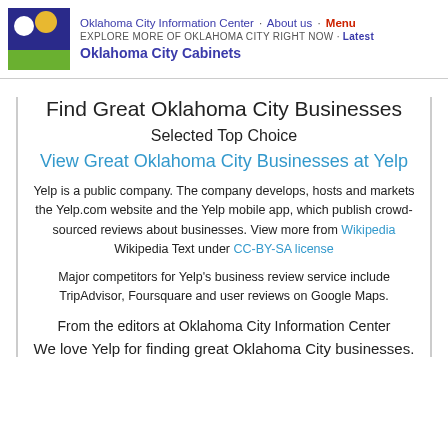Oklahoma City Information Center · About us · Menu
EXPLORE MORE OF OKLAHOMA CITY RIGHT NOW · Latest
Oklahoma City Cabinets
Find Great Oklahoma City Businesses
Selected Top Choice
View Great Oklahoma City Businesses at Yelp
Yelp is a public company. The company develops, hosts and markets the Yelp.com website and the Yelp mobile app, which publish crowd-sourced reviews about businesses. View more from Wikipedia Wikipedia Text under CC-BY-SA license
Major competitors for Yelp's business review service include TripAdvisor, Foursquare and user reviews on Google Maps.
From the editors at Oklahoma City Information Center
We love Yelp for finding great Oklahoma City businesses.